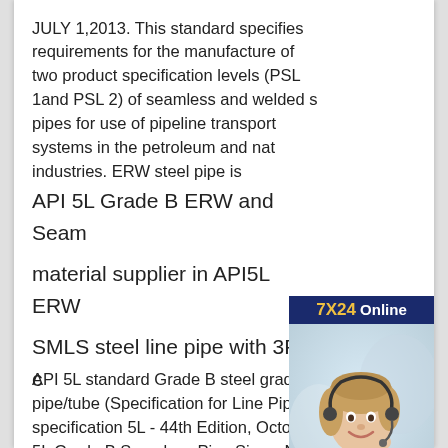JULY 1,2013. This standard specifies requirements for the manufacture of two product specification levels (PSL 1and PSL 2) of seamless and welded s pipes for use of pipeline transport systems in the petroleum and nat industries. ERW steel pipe is
[Figure (photo): 7X24 Online customer service advertisement banner showing a woman wearing a headset, with text 'Hello,may I help you?' and a 'Get Latest Price' button]
API 5L Grade B ERW and Seam material supplier in API5L ERW SMLS steel line pipe with 3PE c
API 5L standard Grade B steel grade seamless steel pipe/tube (Specification for Line Pipe - ANSI/API specification 5L - 44th Edition, October 1, 2007) API 5L Grade B Seamless Pipe Sizes. Nominal Pipe Size 1/2 inch - 48 inch Ooter